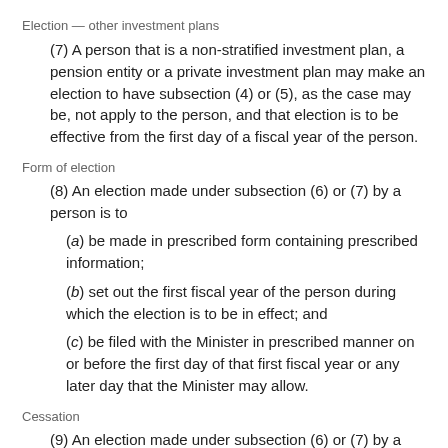Election — other investment plans
(7) A person that is a non-stratified investment plan, a pension entity or a private investment plan may make an election to have subsection (4) or (5), as the case may be, not apply to the person, and that election is to be effective from the first day of a fiscal year of the person.
Form of election
(8) An election made under subsection (6) or (7) by a person is to
(a) be made in prescribed form containing prescribed information;
(b) set out the first fiscal year of the person during which the election is to be in effect; and
(c) be filed with the Minister in prescribed manner on or before the first day of that first fiscal year or any later day that the Minister may allow.
Cessation
(9) An election made under subsection (6) or (7) by a person ceases to have effect on the earliest of